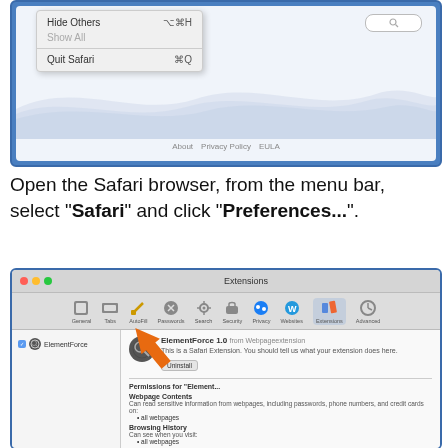[Figure (screenshot): Safari browser menu showing 'Hide Others', 'Show All' (greyed), and 'Quit Safari ⌘Q' options, with a search bar visible in the top right, and wave pattern background with About, Privacy Policy, EULA footer links]
Open the Safari browser, from the menu bar, select "Safari" and click "Preferences...".
[Figure (screenshot): Safari Extensions preferences window showing ElementForce 1.0 extension with Uninstall button highlighted by an orange arrow. Permissions show Webpage Contents and Browsing History sections.]